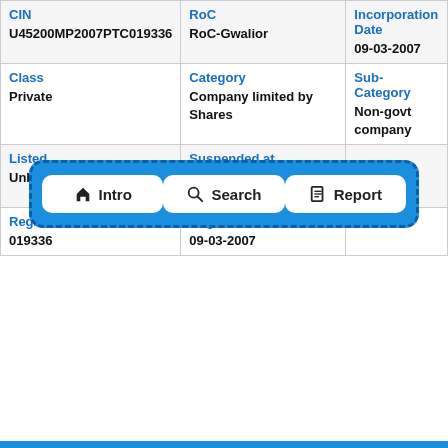| CIN | RoC | Incorporation Date |
| --- | --- | --- |
| U45200MP2007PTC019336 | RoC-Gwalior | 09-03-2007 |
| Class
Private | Category
Company limited by Shares | Sub-Category
Non-govt company |
| Listed
Unlisted | Suspended at Exchange
- |  |
| Registration Number
019336 | Registration Date
09-03-2007 |  |
[Figure (infographic): Navigation bar with three buttons: Intro (home icon), Search (magnifying glass icon), Report (document icon), on a blue dashed-border background]